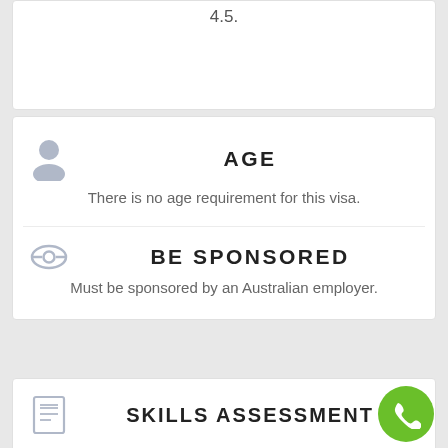4.5.
AGE
There is no age requirement for this visa.
BE SPONSORED
Must be sponsored by an Australian employer.
SKILLS ASSESSMENT
Generally not required unless on this list.